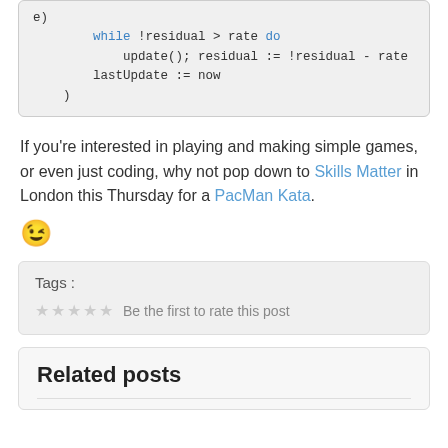e)
        while !residual > rate do
            update(); residual := !residual - rate
        lastUpdate := now
    )
If you're interested in playing and making simple games, or even just coding, why not pop down to Skills Matter in London this Thursday for a PacMan Kata.
[Figure (illustration): Winking smiley face emoji]
Tags :
★★★★★ Be the first to rate this post
Related posts